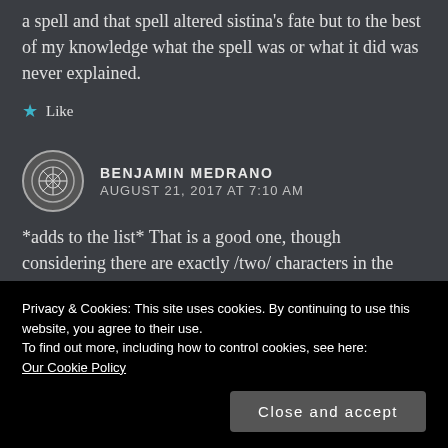a spell and that spell altered sistina's fate but to the best of my knowledge what the spell was or what it did was never explained.
★ Like
BENJAMIN MEDRANO
AUGUST 21, 2017 AT 7:10 AM
*adds to the list* That is a good one, though considering there are exactly /two/ characters in the series, both deities, who can answer the
Privacy & Cookies: This site uses cookies. By continuing to use this website, you agree to their use.
To find out more, including how to control cookies, see here:
Our Cookie Policy
Close and accept